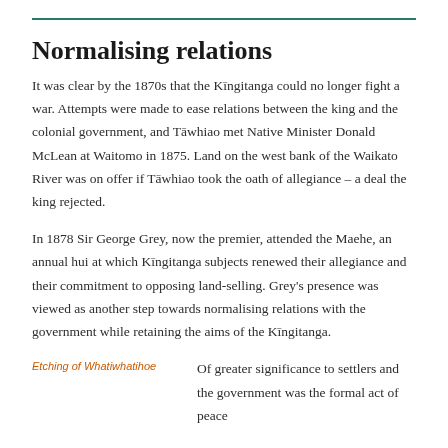Normalising relations
It was clear by the 1870s that the Kīngitanga could no longer fight a war. Attempts were made to ease relations between the king and the colonial government, and Tāwhiao met Native Minister Donald McLean at Waitomo in 1875. Land on the west bank of the Waikato River was on offer if Tāwhiao took the oath of allegiance – a deal the king rejected.
In 1878 Sir George Grey, now the premier, attended the Maehe, an annual hui at which Kīngitanga subjects renewed their allegiance and their commitment to opposing land-selling. Grey's presence was viewed as another step towards normalising relations with the government while retaining the aims of the Kīngitanga.
Etching of Whatiwhatihoe
Of greater significance to settlers and the government was the formal act of peace